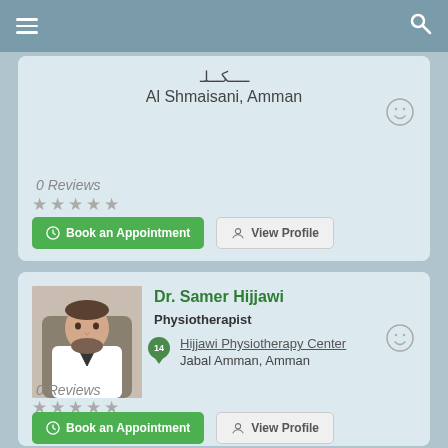Navigation bar with menu and search icons
Al Shmaisani, Amman
0 Reviews
★★★★★
Book an Appointment
View Profile
Dr. Samer Hijjawi
Physiotherapist
Hijjawi Physiotherapy Center
Jabal Amman, Amman
0 Reviews
★★★★★
Book an Appointment
View Profile